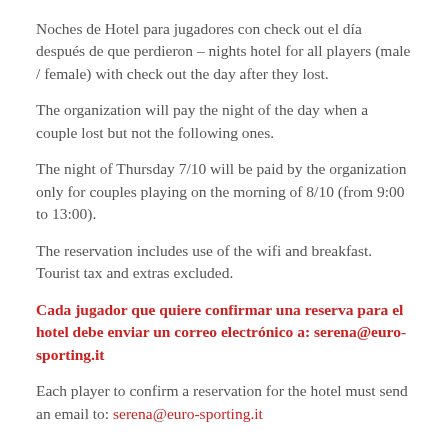Noches de Hotel para jugadores con check out el día después de que perdieron – nights hotel for all players (male / female) with check out the day after they lost.
The organization will pay the night of the day when a couple lost but not the following ones.
The night of Thursday 7/10 will be paid by the organization only for couples playing on the morning of 8/10 (from 9:00 to 13:00).
The reservation includes use of the wifi and breakfast. Tourist tax and extras excluded.
Cada jugador que quiere confirmar una reserva para el hotel debe enviar un correo electrónico a: serena@euro-sporting.it
Each player to confirm a reservation for the hotel must send an email to: serena@euro-sporting.it